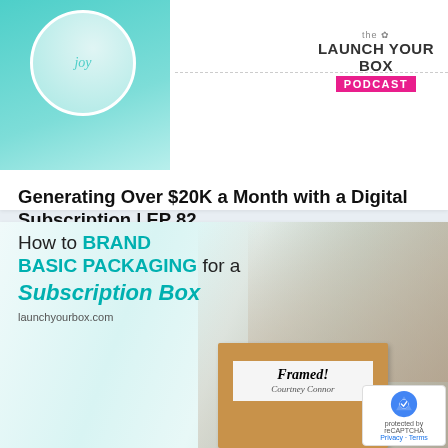[Figure (screenshot): Top podcast card showing a person holding a joy-themed notebook inside a teal circle image on the left, and the Launch Your Box Podcast logo on the right with a dotted line separator]
Generating Over $20K a Month with a Digital Subscription | EP 82
Aug 10, 2022
[Figure (infographic): How to BRAND BASIC PACKAGING for a Subscription Box - branded image with teal text overlay on light background, showing a person packing a cardboard subscription box labeled 'Framed! Courtney Connor', with launchyourbox.com URL]